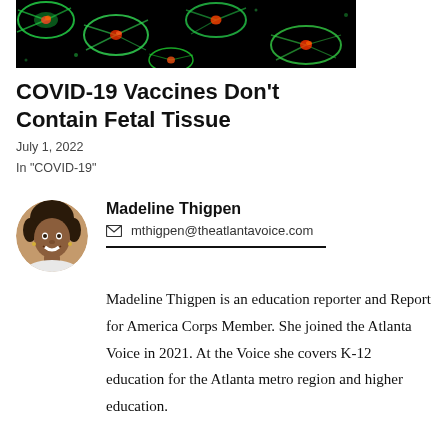[Figure (photo): Microscopy image showing fluorescent cells with green cytoskeleton and red/orange nuclei on black background]
COVID-19 Vaccines Don't Contain Fetal Tissue
July 1, 2022
In "COVID-19"
[Figure (photo): Circular headshot of Madeline Thigpen, a smiling woman with curly hair]
Madeline Thigpen
mthigpen@theatlantavoice.com
Madeline Thigpen is an education reporter and Report for America Corps Member. She joined the Atlanta Voice in 2021. At the Voice she covers K-12 education for the Atlanta metro region and higher education.